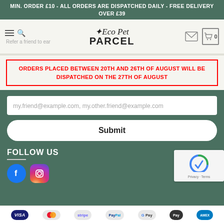MIN. ORDER £10 - ALL ORDERS ARE DISPATCHED DAILY - FREE DELIVERY OVER £39
[Figure (logo): Eco Pet Parcel logo with cursive top text and bold PARCEL text]
ORDERS PLACED BETWEEN 20TH AND 26TH OF AUGUST WILL BE DISPATCHED ON THE 27TH OF AUGUST
my.friend@example.com, my.other.friend@example.com
Submit
FOLLOW US
[Figure (logo): Facebook and Instagram social media icons]
VISA  stripe  PayPal  G Pay  Apple Pay  AMEX